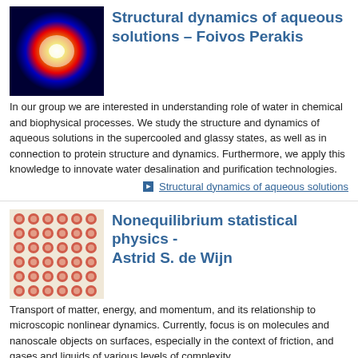Structural dynamics of aqueous solutions – Foivos Perakis
In our group we are interested in understanding role of water in chemical and biophysical processes. We study the structure and dynamics of aqueous solutions in the supercooled and glassy states, as well as in connection to protein structure and dynamics. Furthermore, we apply this knowledge to innovate water desalination and purification technologies.
Structural dynamics of aqueous solutions
Nonequilibrium statistical physics - Astrid S. de Wijn
Transport of matter, energy, and momentum, and its relationship to microscopic nonlinear dynamics. Currently, focus is on molecules and nanoscale objects on surfaces, especially in the context of friction, and gases and liquids of various levels of complexity
Astrid S. de Wijn webpage
Ultrafast surface chemical physics - Henrik Öström
We use ultrafast techniques to study the microscopic steps and dynamics of surface reactions related to heterogeneous catalysis